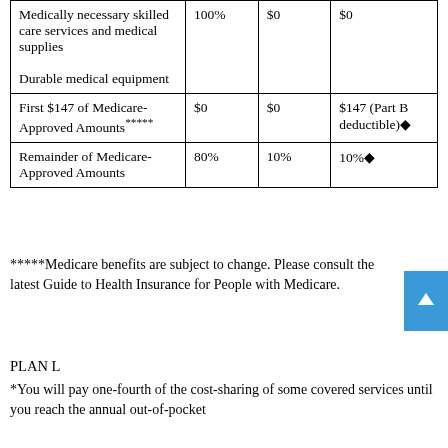|  | Medicare Pays | Plan Pays | You Pay |
| --- | --- | --- | --- |
| Medically necessary skilled care services and medical supplies
Durable medical equipment | 100% | $0 | $0 |
| First $147 of Medicare-Approved Amounts***** | $0 | $0 | $147 (Part B deductible)♦ |
| Remainder of Medicare-Approved Amounts | 80% | 10% | 10%♦ |
*****Medicare benefits are subject to change. Please consult the latest Guide to Health Insurance for People with Medicare.
PLAN L
*You will pay one-fourth of the cost-sharing of some covered services until you reach the annual out-of-pocket